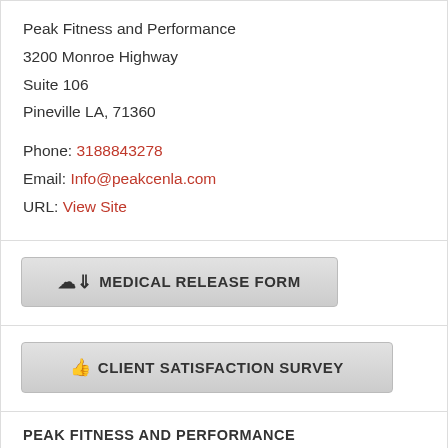Peak Fitness and Performance
3200 Monroe Highway
Suite 106
Pineville LA, 71360

Phone: 3188843278
Email: Info@peakcenla.com
URL: View Site
MEDICAL RELEASE FORM
CLIENT SATISFACTION SURVEY
PEAK FITNESS AND PERFORMANCE